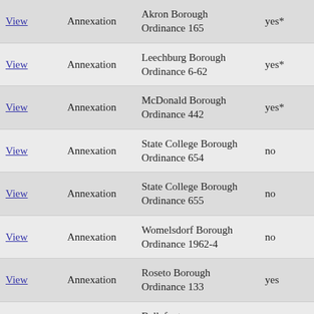| View | Annexation | Akron Borough Ordinance 165 | yes* | 1964 |
| View | Annexation | Leechburg Borough Ordinance 6-62 | yes* | 1963–1964 |
| View | Annexation | McDonald Borough Ordinance 442 | yes* | 1964 |
| View | Annexation | State College Borough Ordinance 654 | no | 1964 |
| View | Annexation | State College Borough Ordinance 655 | no | 1964 |
| View | Annexation | Womelsdorf Borough Ordinance 1962-4 | no | 1962–1964 |
| View | Annexation | Roseto Borough Ordinance 133 | yes | Jan 27 1964 |
|  |  | Bellefonte |  | Feb 5 |